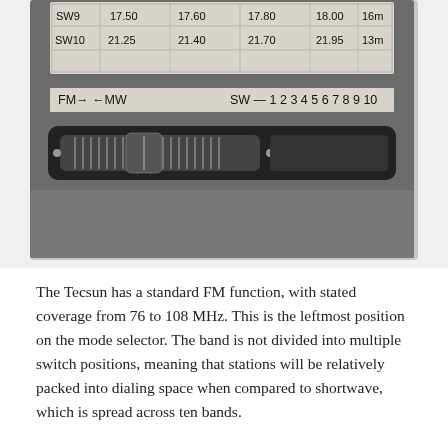[Figure (photo): Close-up photo of a Tecsun shortwave radio showing a frequency band selector table with SW9 and SW10 rows (frequencies 17.50-18.00 MHz for SW9, 21.25-21.95 MHz for SW10), and a mode selector bar labeled FM, MW, SW 1-10, with a sliding tuner control.]
The Tecsun has a standard FM function, with stated coverage from 76 to 108 MHz. This is the leftmost position on the mode selector. The band is not divided into multiple switch positions, meaning that stations will be relatively packed into dialing space when compared to shortwave, which is spread across ten bands.
I didn't buy this radio to use it for FM. I have very little interest tuning for FM stations. Some people may enjoy the experience of manual tuning for a station they can locate quickly, but I'm not one. I can easily type the frequency I want on my Tivdio, and I intend to keep doing that for FM. I mostly